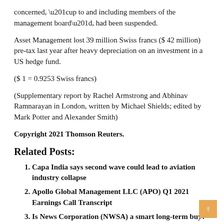concerned, “up to and including members of the management board”, had been suspended.
Asset Management lost 39 million Swiss francs ($ 42 million) pre-tax last year after heavy depreciation on an investment in a US hedge fund.
($ 1 = 0.9253 Swiss francs)
(Supplementary report by Rachel Armstrong and Abhinav Ramnarayan in London, written by Michael Shields; edited by Mark Potter and Alexander Smith)
Copyright 2021 Thomson Reuters.
Related Posts:
Capa India says second wave could lead to aviation industry collapse
Apollo Global Management LLC (APO) Q1 2021 Earnings Call Transcript
Is News Corporation (NWSA) a smart long-term buy?